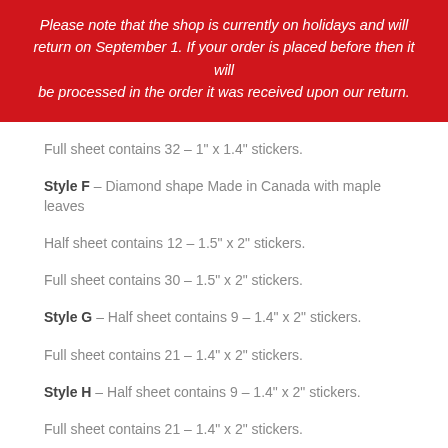Please note that the shop is currently on holidays and will return on September 1. If your order is placed before then it will be processed in the order it was received upon our return.
Full sheet contains 32 - 1" x 1.4" stickers.
Style F - Diamond shape Made in Canada with maple leaves
Half sheet contains 12 - 1.5" x 2" stickers.
Full sheet contains 30 - 1.5" x 2" stickers.
Style G - Half sheet contains 9 - 1.4" x 2" stickers.
Full sheet contains 21 - 1.4" x 2" stickers.
Style H - Half sheet contains 9 - 1.4" x 2" stickers.
Full sheet contains 21 - 1.4" x 2" stickers.